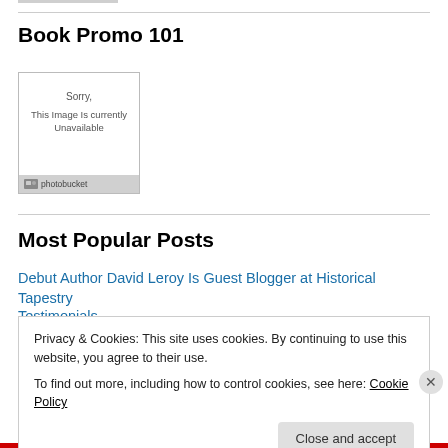Book Promo 101
[Figure (screenshot): Image placeholder showing 'Sorry, This Image Is currently Unavailable' with Photobucket branding]
Most Popular Posts
Debut Author David Leroy Is Guest Blogger at Historical Tapestry
Testimonials
Privacy & Cookies: This site uses cookies. By continuing to use this website, you agree to their use.
To find out more, including how to control cookies, see here: Cookie Policy
Close and accept